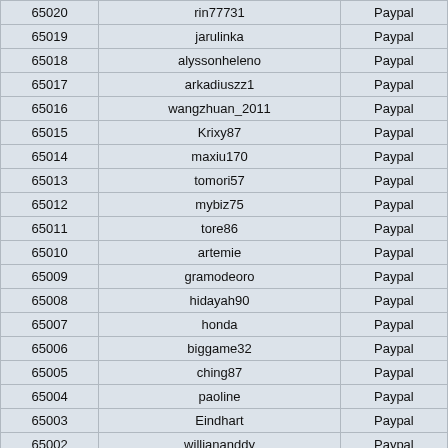| 65020 | rin77731 | Paypal |
| 65019 | jarulinka | Paypal |
| 65018 | alyssonheleno | Paypal |
| 65017 | arkadiuszz1 | Paypal |
| 65016 | wangzhuan_2011 | Paypal |
| 65015 | Krixy87 | Paypal |
| 65014 | maxiu170 | Paypal |
| 65013 | tomori57 | Paypal |
| 65012 | mybiz75 | Paypal |
| 65011 | tore86 | Paypal |
| 65010 | artemie | Paypal |
| 65009 | gramodeoro | Paypal |
| 65008 | hidayah90 | Paypal |
| 65007 | honda | Paypal |
| 65006 | biggame32 | Paypal |
| 65005 | ching87 | Paypal |
| 65004 | paoline | Paypal |
| 65003 | Eindhart | Paypal |
| 65002 | williananddy | Paypal |
| 65001 | Simone41 | Paypal |
| 65000 | awad195 | Paypal |
| 64999 | badrooo | Paypal |
| 64998 | dagusia19891 | Paypal |
| 64997 | ilyasse2017 | Paypal |
| 64996 | georgeintors | Paypal |
| 64995 | hongphucle | Paypal |
| 64994 | sangronis08 | Paypal |